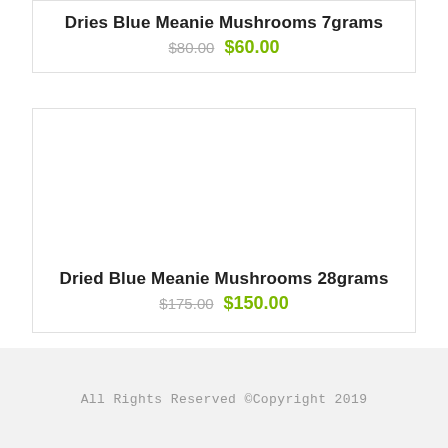Dries Blue Meanie Mushrooms 7grams
$80.00  $60.00
Dried Blue Meanie Mushrooms 28grams
$175.00  $150.00
All Rights Reserved ©Copyright 2019